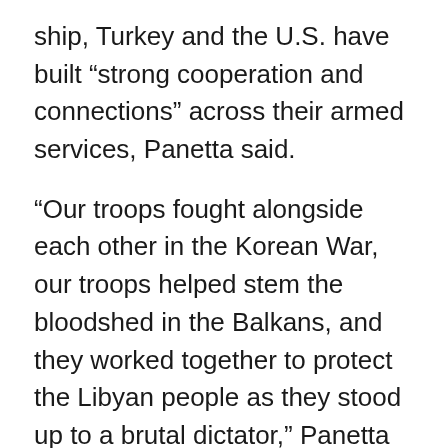ship, Turkey and the U.S. have built “strong cooperation and connections” across their armed services, Panetta said.
“Our troops fought alongside each other in the Korean War, our troops helped stem the bloodshed in the Balkans, and they worked together to protect the Libyan people as they stood up to a brutal dictator,” Panetta noted.
“Just as critically, Turkey continues to make vital contributions in Afghanistan, where more than 1,200 Turkish forces are currently deployed,” he said. “We deeply appreciate the determination and resolve of the Turkish people to assist the international military